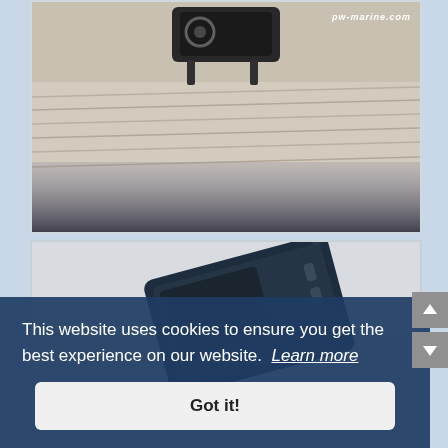[Figure (photo): Close-up photo of a boat deck with wooden planks and a dark equipment mount or cleat, with pw-marine.com text visible. Strong shadows on deck.]
[Figure (photo): Photo of a dark blue marine electronic device or VHF radio on a light background, with pw-marine.com watermark visible.]
This website uses cookies to ensure you get the best experience on our website.  Learn more
Got it!